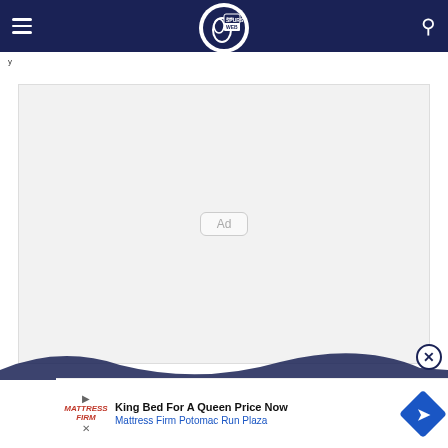Spurs Web navigation bar with hamburger menu, logo, and search icon
y
[Figure (other): Advertisement placeholder box with 'Ad' label in center, light grey background]
[Figure (other): Wave decoration with close (X) button circle]
[Figure (other): Bottom banner advertisement: King Bed For A Queen Price Now - Mattress Firm Potomac Run Plaza, with Mattress Firm logo and blue diamond arrow icon]